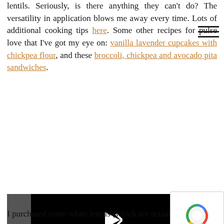lentils. Seriously, is there anything they can't do? The versatility in application blows me away every time. Lots of additional cooking tips here. Some other recipes for pulse love that I've got my eye on: vanilla lavender cupcakes with chickpea flour, and these broccoli, chickpea and avocado pita sandwiches.
[Figure (screenshot): Embedded video player showing an error message: 'The video cannot be played in this browser. (Error Code: 242632)' with a play button icon on a black background.]
[Figure (logo): reCAPTCHA badge with spinning logo and 'Privacy - Terms' text]
I purchased some white lentils (which are actually